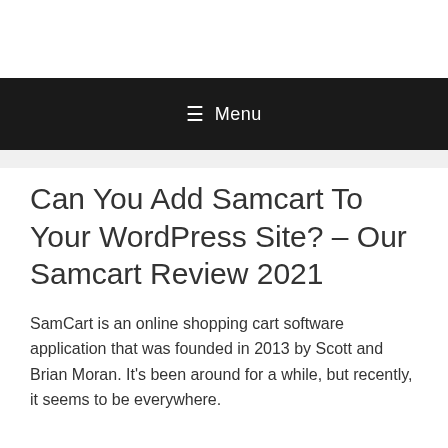Menu
Can You Add Samcart To Your WordPress Site? – Our Samcart Review 2021
SamCart is an online shopping cart software application that was founded in 2013 by Scott and Brian Moran. It's been around for a while, but recently, it seems to be everywhere.